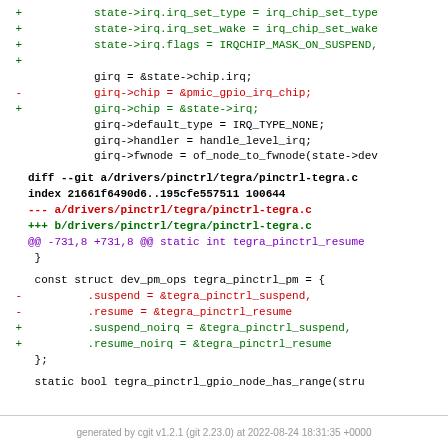[Figure (screenshot): Git diff code patch showing changes to Linux kernel drivers for pinctrl and pmic gpio irq chip, displayed as a code diff with green additions, red deletions, and blue file headers.]
generated by cgit v1.2.1 (git 2.23.0) at 2022-08-24 18:31:35 +0000